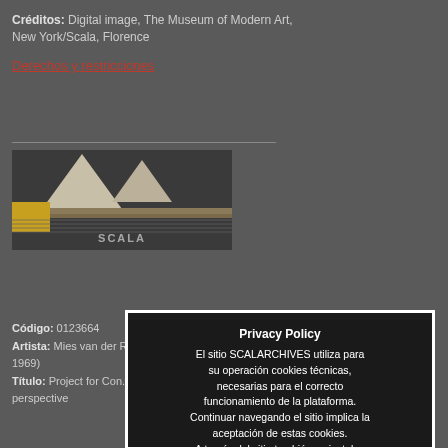Créditos: Digital image, The Museum of Modern Art, New York/Scala, Florence
Derechos y restricciones
[Figure (photo): Architectural model photograph showing triangular tent-like structures with a yellow element at lower left and SCALA watermark]
Código: 0123664
Artista: Mies van der Rohe, Ludwig (1886-1969)
Título: Project for Concert Hall, perspective
Privacy Policy
El sitio SCALARCHIVES utiliza para su operación cookies técnicas, necesarias para el correcto funcionamiento de la plataforma. Continuar navegando el sitio implica la aceptación de estas cookies. A través del sitio también se instalan